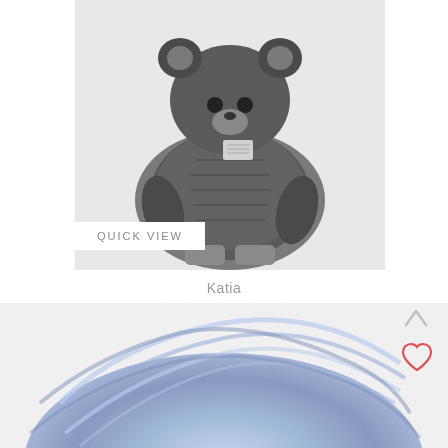[Figure (photo): A stuffed knitted teddy bear made of fuzzy dark grey and light grey yarn, with a care label visible. 'QUICK VIEW' button overlaid at bottom left of image.]
Katia
[Figure (other): Five empty star rating icons in a row]
KATIA TEDDY BEAR
€16.12
ADD TO BASKET
[Figure (photo): A skein of variegated light blue and lavender yarn, partially visible at bottom of page. An upward arrow and a red heart wishlist icon are visible in the top right corner of this section.]